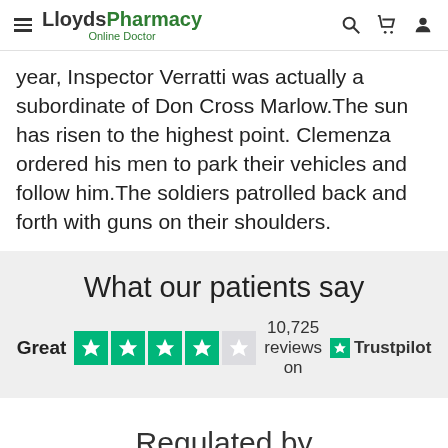LloydsPharmacy Online Doctor
year, Inspector Verratti was actually a subordinate of Don Cross Marlow.The sun has risen to the highest point. Clemenza ordered his men to park their vehicles and follow him.The soldiers patrolled back and forth with guns on their shoulders.
What our patients say
Great   10,725 reviews on   Trustpilot
Regulated by